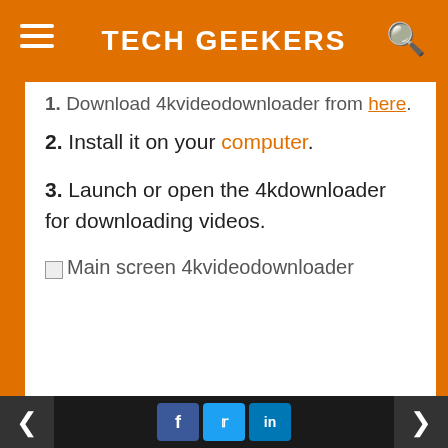TECH GEEKERS
1. Download 4kvideodownloader from here.
2. Install it on your computer.
3. Launch or open the 4kdownloader for downloading videos.
[Figure (screenshot): Broken image placeholder for 'Main screen 4kvideodownloader']